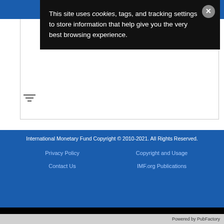[Figure (screenshot): Blue navigation bar at top of IMF website with hamburger menu and search icons]
This site uses cookies, tags, and tracking settings to store information that help give you the very best browsing experience.
[Figure (screenshot): White content area with filter icon]
International Monetary Fund Copyright © 2010-2021. All Rights Reserved. Privacy Policy | Copyright and Usage | Contact Us | IMF.org Publications
Powered by PubFactory